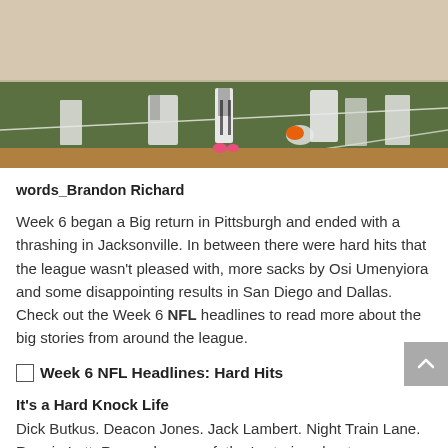[Figure (photo): NFL football game action scene on the field, players in white uniforms visible standing on green turf with orange and white markings]
words_Brandon Richard
Week 6 began a Big return in Pittsburgh and ended with a thrashing in Jacksonville. In between there were hard hits that the league wasn't pleased with, more sacks by Osi Umenyiora and some disappointing results in San Diego and Dallas. Check out the Week 6 NFL headlines to read more about the big stories from around the league.
Week 6 NFL Headlines: Hard Hits
It's a Hard Knock Life
Dick Butkus. Deacon Jones. Jack Lambert. Night Train Lane. Ronnie Lott. Remember your father's stories about